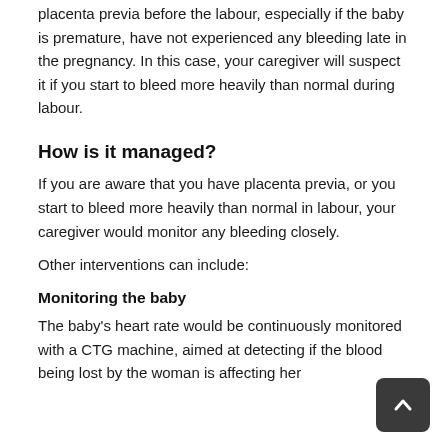placenta previa before the labour, especially if the baby is premature, have not experienced any bleeding late in the pregnancy. In this case, your caregiver will suspect it if you start to bleed more heavily than normal during labour.
How is it managed?
If you are aware that you have placenta previa, or you start to bleed more heavily than normal in labour, your caregiver would monitor any bleeding closely.
Other interventions can include:
Monitoring the baby
The baby's heart rate would be continuously monitored with a CTG machine, aimed at detecting if the blood being lost by the woman is affecting her